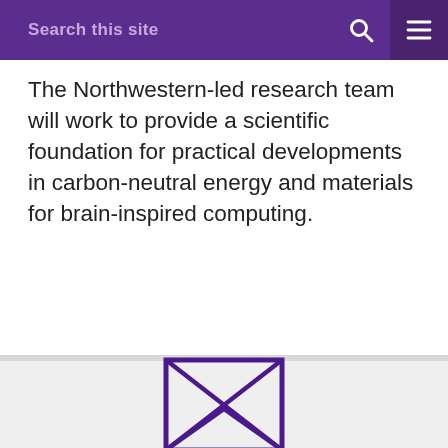Search this site
The Northwestern-led research team will work to provide a scientific foundation for practical developments in carbon-neutral energy and materials for brain-inspired computing.
[Figure (illustration): Purple envelope icon — a rectangular envelope outline with an X formed by diagonal lines from corner to corner, and a V-shape at the bottom representing the envelope flap, rendered in dark purple on a light gray background.]